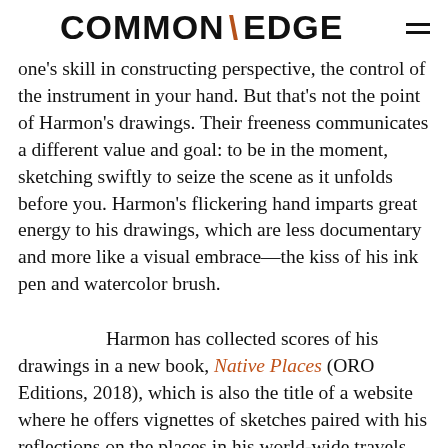COMMON \ EDGE
one's skill in constructing perspective, the control of the instrument in your hand. But that's not the point of Harmon's drawings. Their freeness communicates a different value and goal: to be in the moment, sketching swiftly to seize the scene as it unfolds before you. Harmon's flickering hand imparts great energy to his drawings, which are less documentary and more like a visual embrace—the kiss of his ink pen and watercolor brush.
Harmon has collected scores of his drawings in a new book, Native Places (ORO Editions, 2018), which is also the title of a website where he offers vignettes of sketches paired with his reflections on the places in his world-wide travels that he captures in